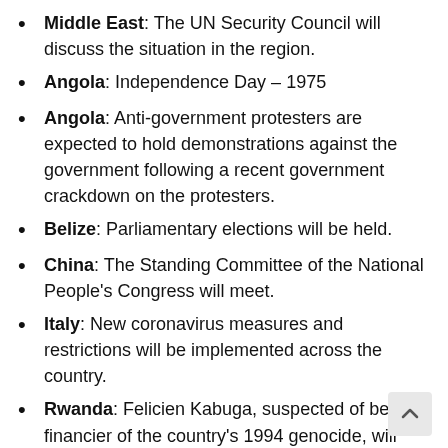Middle East: The UN Security Council will discuss the situation in the region.
Angola: Independence Day – 1975
Angola: Anti-government protesters are expected to hold demonstrations against the government following a recent government crackdown on the protesters.
Belize: Parliamentary elections will be held.
China: The Standing Committee of the National People's Congress will meet.
Italy: New coronavirus measures and restrictions will be implemented across the country.
Rwanda: Felicien Kabuga, suspected of being a financier of the country's 1994 genocide, will face a pre-trial hearing at The Hague.
Syria: A Russian-organized conference on refugees from the country will be held in Damascus. (to 12NOV)
Turkey: A court is expected to deliver a ruling on